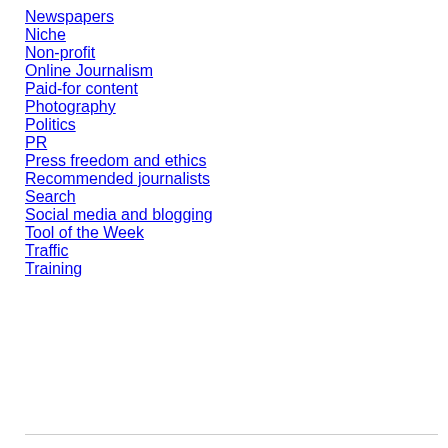Newspapers
Niche
Non-profit
Online Journalism
Paid-for content
Photography
Politics
PR
Press freedom and ethics
Recommended journalists
Search
Social media and blogging
Tool of the Week
Traffic
Training